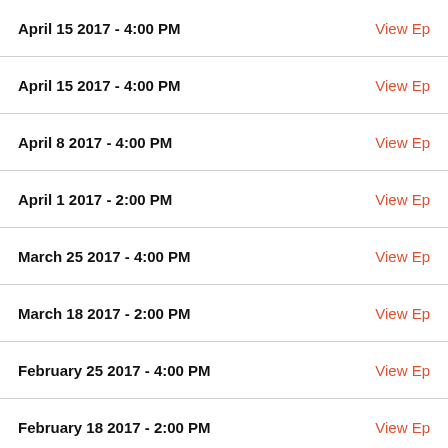April 15 2017 - 4:00 PM | View Ep
April 15 2017 - 4:00 PM | View Ep
April 8 2017 - 4:00 PM | View Ep
April 1 2017 - 2:00 PM | View Ep
March 25 2017 - 4:00 PM | View Ep
March 18 2017 - 2:00 PM | View Ep
February 25 2017 - 4:00 PM | View Ep
February 18 2017 - 2:00 PM | View Ep
February 11 2017 - 4:00 PM | View Ep
February 4 2017 - 4:00 PM | View Ep
January 28 2017 - 3:00 PM | View Ep
January 21 2017 - 2:00 PM | View Ep